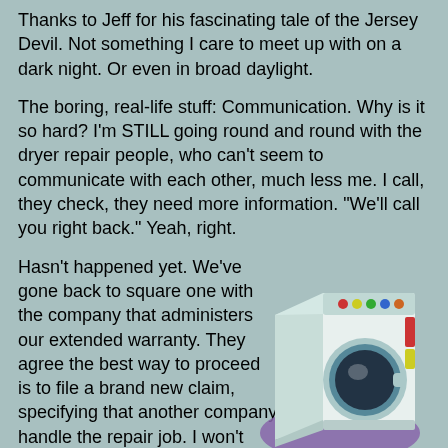Thanks to Jeff for his fascinating tale of the Jersey Devil. Not something I care to meet up with on a dark night. Or even in broad daylight.
The boring, real-life stuff: Communication. Why is it so hard? I'm STILL going round and round with the dryer repair people, who can't seem to communicate with each other, much less me. I call, they check, they need more information. "We'll call you right back." Yeah, right.
Hasn't happened yet. We've gone back to square one with the company that administers our extended warranty. They agree the best way to proceed is to file a brand new claim, specifying that another company handle the repair job. I won't mention how the first person took all my information, read it back to me and said she'd transfer me to
[Figure (illustration): Cartoon illustration of a front-loading washing machine/dryer appliance, shown in a stylized perspective view with a purple shadow behind it. The appliance is white/teal colored with colored buttons on top and a circular door with a dark drum visible.]